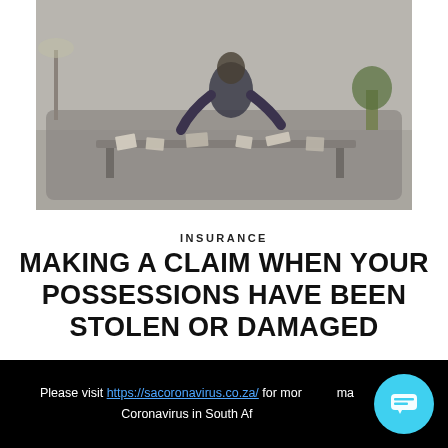[Figure (photo): Person sitting on a couch surrounded by scattered possessions and items, appearing distressed, in a ransacked living room]
INSURANCE
MAKING A CLAIM WHEN YOUR POSSESSIONS HAVE BEEN STOLEN OR DAMAGED
Please visit https://sacoronavirus.co.za/ for more information about Coronavirus in South Africa